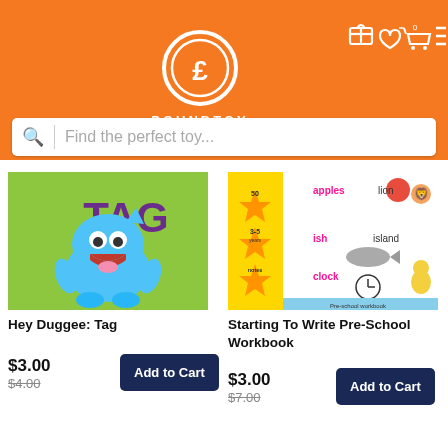[Figure (logo): PoundToy logo: orange background with white circle containing a pound sign, with navigation icons (gift, heart, cart with 0, menu) on the right]
Find the perfect toy...
[Figure (photo): Hey Duggee: Tag book cover — blue cartoon monster on green background with TAG text in purple]
Hey Duggee: Tag
$3.00
$4.00
Add to Cart
[Figure (photo): Starting To Write Pre-School Workbook cover — pink background with stars and illustrations of apples, lion, fish, island, clock]
Starting To Write Pre-School Workbook
$3.00
$7.00
Add to Cart